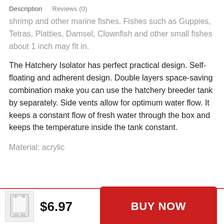Description   Reviews (0)
shrimp and other marine fishes. Fishes such as Guppies, Tetras, Platties, Damsel, Clownfish and other small fishes about 1 inch may fit in.
The Hatchery Isolator has perfect practical design. Self-floating and adherent design. Double layers space-saving combination make you can use the hatchery breeder tank by separately. Side vents allow for optimum water flow. It keeps a constant flow of fresh water through the box and keeps the temperature inside the tank constant.
Material: acrylic
[Figure (photo): Small product thumbnail image of a fish breeder/hatchery isolator box, white/clear acrylic]
$6.97
BUY NOW